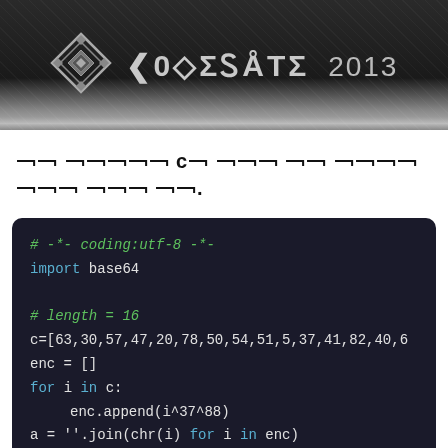[Figure (logo): CODEGATE 2013 logo banner with diamond geometric symbol on dark textured background]
이 문제는 C로 짠 코드 중 일부를 출력 했습니다.
[Figure (screenshot): Python code snippet on dark background showing: # -*- coding:utf-8 -*- / import base64 / # length = 16 / c=[63,30,57,47,20,78,50,54,51,5,37,41,82,40,6 / enc = [] / for i in c: / enc.append(i^37^88) / a = ''.join(chr(i) for i in enc) / a = base64.b64decode(a)]